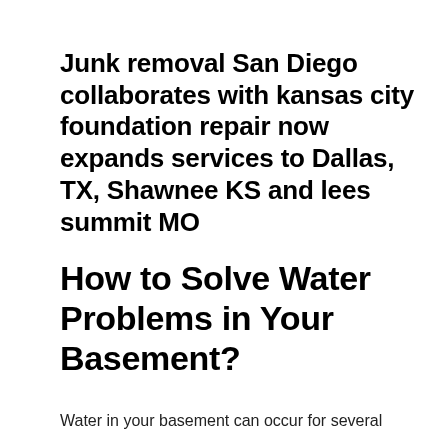Junk removal San Diego collaborates with kansas city foundation repair now expands services to Dallas, TX, Shawnee KS and lees summit MO
How to Solve Water Problems in Your Basement?
Water in your basement can occur for several